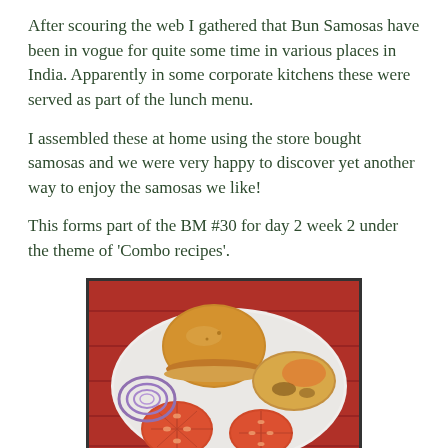After scouring the web I gathered that Bun Samosas have been in vogue for quite some time in various places in India. Apparently in some corporate kitchens these were served as part of the lunch menu.
I assembled these at home using the store bought samosas and we were very happy to discover yet another way to enjoy the samosas we like!
This forms part of the BM #30 for day 2 week 2 under the theme of 'Combo recipes'.
[Figure (photo): A white plate on a red background containing a bun samosa (burger bun with samosa filling), a flat round fried item, and two tomato slices. A purple onion slice ring is visible on the left side of the plate.]